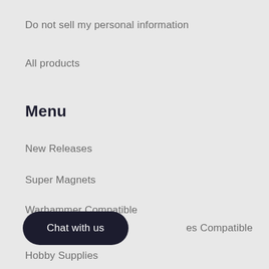Do not sell my personal information
All products
Menu
New Releases
Super Magnets
Warhammer Compatible
es Compatible
Hobby Supplies